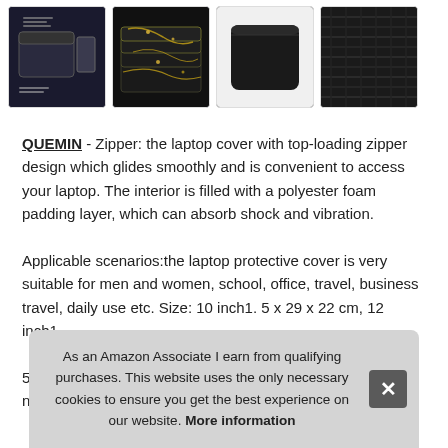[Figure (photo): Four product images of a laptop sleeve/case: (1) black sleeve with text labeling interior features, (2) black and gold marble pattern coasters/cases stacked, (3) plain black sleeve top view, (4) close-up of black fabric texture]
QUEMIN - Zipper: the laptop cover with top-loading zipper design which glides smoothly and is convenient to access your laptop. The interior is filled with a polyester foam padding layer, which can absorb shock and vibration.
Applicable scenarios:the laptop protective cover is very suitable for men and women, school, office, travel, business travel, daily use etc. Size: 10 inch1. 5 x 29 x 22 cm, 12 inch1.
5 x ... cm,
notebooks. Anti-scratch. the tablet case is delicate, soft and
As an Amazon Associate I earn from qualifying purchases. This website uses the only necessary cookies to ensure you get the best experience on our website. More information